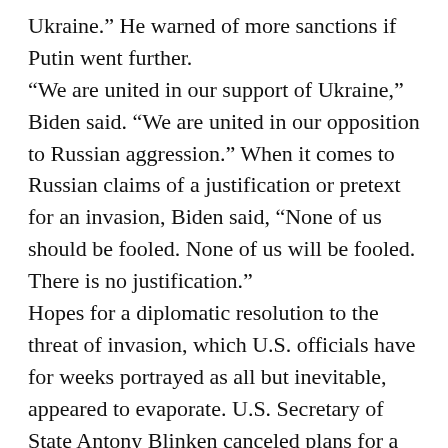Ukraine.” He warned of more sanctions if Putin went further.
“We are united in our support of Ukraine,” Biden said. “We are united in our opposition to Russian aggression.” When it comes to Russian claims of a justification or pretext for an invasion, Biden said, “None of us should be fooled. None of us will be fooled. There is no justification.”
Hopes for a diplomatic resolution to the threat of invasion, which U.S. officials have for weeks portrayed as all but inevitable, appeared to evaporate. U.S. Secretary of State Antony Blinken canceled plans for a Thursday meeting in Geneva with his Russian counterpart, saying it would not be productive and that Russia’s actions indicated Moscow was not serious about a peaceful path to resolving the crisis.
Advertisement
Western nations sought to present a united front, with